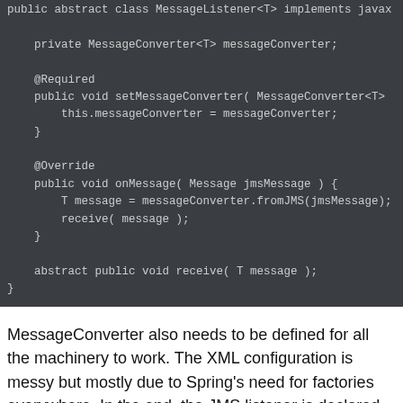[Figure (screenshot): Code block showing Java class MessageListener with private MessageConverter field, @Required setMessageConverter method, @Override onMessage method calling messageConverter.fromJMS and receive, and abstract receive method.]
MessageConverter also needs to be defined for all the machinery to work. The XML configuration is messy but mostly due to Spring's need for factories everywhere. In the end, the JMS listener is declared simply as
[Figure (screenshot): Code snippet showing: <bean class="org.springframework.jms.listener.SimpleMessage...]